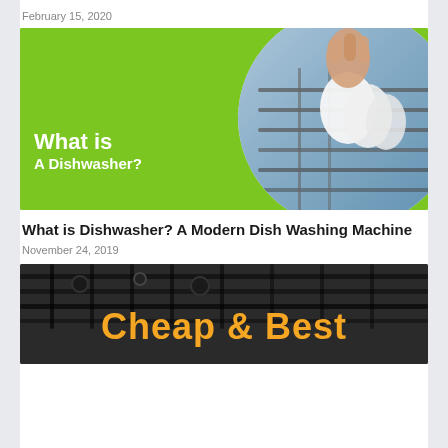February 15, 2020
[Figure (illustration): Green promotional banner reading 'What is A Dishwasher?' with a circular photo of a hand placing white plates into a dishwasher rack on the right side]
What is Dishwasher? A Modern Dish Washing Machine
November 24, 2019
[Figure (illustration): Dark-toned image of a dishwasher interior with black racks and mechanical parts, with large orange bold text 'Cheap & Best' overlaid at the bottom]